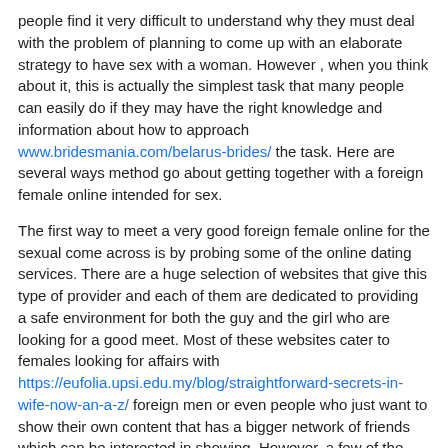people find it very difficult to understand why they must deal with the problem of planning to come up with an elaborate strategy to have sex with a woman. However , when you think about it, this is actually the simplest task that many people can easily do if they may have the right knowledge and information about how to approach www.bridesmania.com/belarus-brides/ the task. Here are several ways method go about getting together with a foreign female online intended for sex.
The first way to meet a very good foreign female online for the sexual come across is by probing some of the online dating services. There are a huge selection of websites that give this type of provider and each of them are dedicated to providing a safe environment for both the guy and the girl who are looking for a good meet. Most of these websites cater to females looking for affairs with https://eufolia.upsi.edu.my/blog/straightforward-secrets-in-wife-now-an-a-z/ foreign men or even people who just want to show their own content that has a bigger network of friends which can be interested in showing. However, a few of the